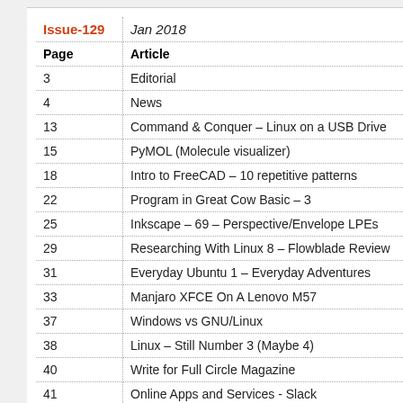| Page | Article |
| --- | --- |
| 3 | Editorial |
| 4 | News |
| 13 | Command & Conquer – Linux on a USB Drive |
| 15 | PyMOL (Molecule visualizer) |
| 18 | Intro to FreeCAD – 10 repetitive patterns |
| 22 | Program in Great Cow Basic – 3 |
| 25 | Inkscape – 69 – Perspective/Envelope LPEs |
| 29 | Researching With Linux 8 – Flowblade Review |
| 31 | Everyday Ubuntu 1 – Everyday Adventures |
| 33 | Manjaro XFCE On A Lenovo M57 |
| 37 | Windows vs GNU/Linux |
| 38 | Linux – Still Number 3 (Maybe 4) |
| 40 | Write for Full Circle Magazine |
| 41 | Online Apps and Services - Slack |
| 43 | Letters |
| 44 | Q & A |